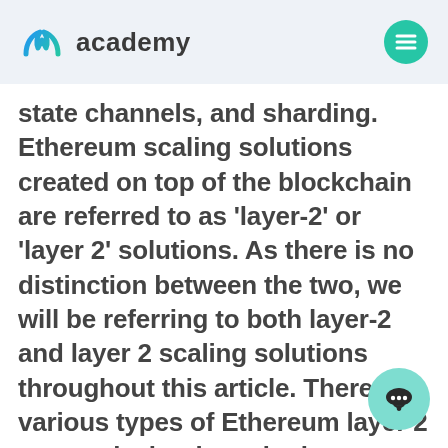academy
state channels, and sharding. Ethereum scaling solutions created on top of the blockchain are referred to as ‘layer-2’ or ‘layer 2’ solutions. As there is no distinction between the two, we will be referring to both layer-2 and layer 2 scaling solutions throughout this article. There are various types of Ethereum layer 2 protocols, but how do they work? Also, how do layer-2 scaling